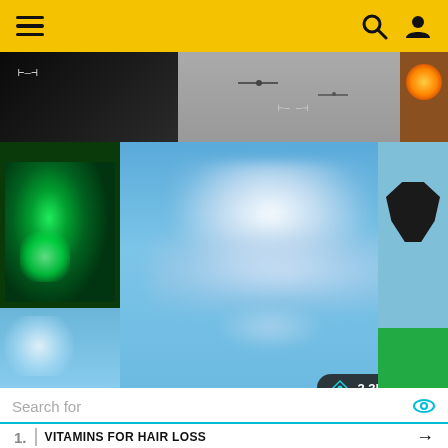Navigation header with hamburger menu, search and user icons on yellow background
[Figure (screenshot): Collage of UAP/UFO related images: top row shows dark military-style footage and drone views; center shows large blurry white object against blue sky; left shows green night-vision image; right sub-images show dark triangular object and blue sky; stats overlay shows 2.3k views, 0 shares]
Search for
1. VITAMINS FOR HAIR LOSS →
[Figure (photo): Advertisement banner showing aircraft on tarmac with text 'WITHOUT REGARD TO RACE, RELIGION, OR ABILITY TO PAY']